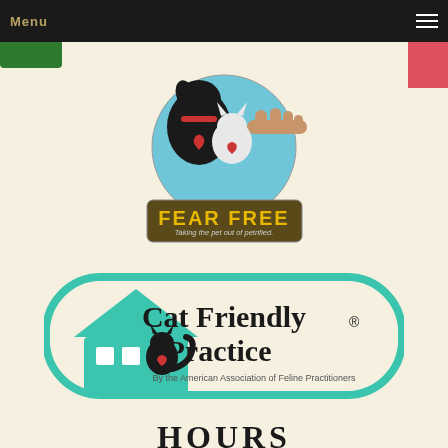Menu
[Figure (logo): Fear Free logo: circular badge with silhouette of black dog and white cat with red hearts, blue background. Text banner reads 'FEAR FREE - Taking the pet out of petrified.']
[Figure (logo): Cat Friendly Practice logo: teal rounded rectangle with house icon containing black cat silhouette with red heart. Text reads 'Cat Friendly Practice® By the American Association of Feline Practitioners']
HOURS